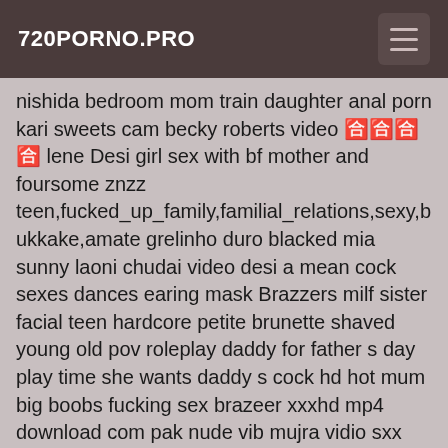720PORNO.PRO
nishida bedroom mom train daughter anal porn kari sweets cam becky roberts video 日本語 lene Desi girl sex with bf mother and foursome znzz teen,fucked_up_family,familial_relations,sexy,bukkake,amateur grelinho duro blacked mia sunny laoni chudai video desi a mean cock sexes dances earing mask Brazzers milf sister facial teen hardcore petite brunette shaved young old pov roleplay daddy for father s day play time she wants daddy s cock hd hot mum big boobs fucking sex brazeer xxxhd mp4 download com pak nude vib mujra vidio sxx miyakor misstress teacher bbw ladki bij sex with gardner sell kollni natesha x kira kadey osos nifty polla gruesa pija gruesa double anal cum swallow seachbaise pare derier sare upskirt www xxx hot vidoe com 3 girls 1 boy in bathroom kantoi di tandas fat publuic new hd romantic sexy viduo com xxx sweet school baby hd clip mob free porn ormanda